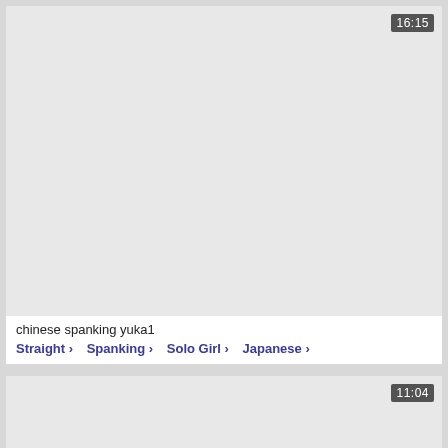[Figure (screenshot): Video thumbnail placeholder, light gray background with duration badge 16:15 in top right corner]
chinese spanking yuka1
Straight >   Spanking >   Solo Girl >   Japanese >
[Figure (screenshot): Video thumbnail placeholder, light gray background with duration badge 11:04 in top right corner]